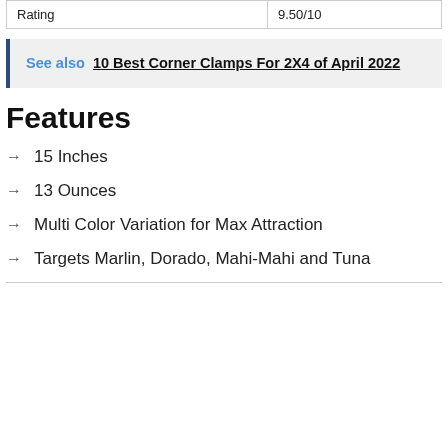| Rating | 9.50/10 |
| --- | --- |
See also  10 Best Corner Clamps For 2X4 of April 2022
Features
→ 15 Inches
→ 13 Ounces
→ Multi Color Variation for Max Attraction
→ Targets Marlin, Dorado, Mahi-Mahi and Tuna